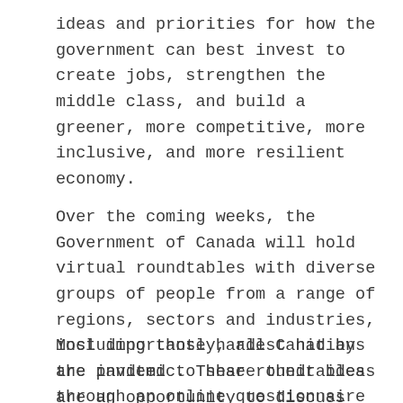ideas and priorities for how the government can best invest to create jobs, strengthen the middle class, and build a greener, more competitive, more inclusive, and more resilient economy.
Over the coming weeks, the Government of Canada will hold virtual roundtables with diverse groups of people from a range of regions, sectors and industries, including those hardest hit by the pandemic. These roundtables are an opportunity to discuss the very real challenges Canadians are facing and listen to ways that the government can ensure a robust recovery that leaves no one behind.
Most importantly, all Canadians are invited to share their ideas through an online questionnaire at LetsTalkBudget2021.ca, which will be available